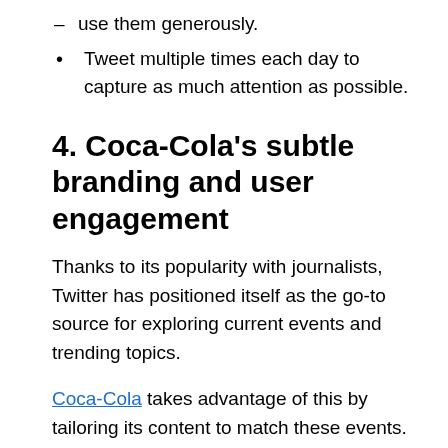– use them generously.
Tweet multiple times each day to capture as much attention as possible.
4. Coca-Cola's subtle branding and user engagement
Thanks to its popularity with journalists, Twitter has positioned itself as the go-to source for exploring current events and trending topics.
Coca-Cola takes advantage of this by tailoring its content to match these events. Because Coke already has a massive existing library of content, it is easy for the brand to jump into a trending event and offer relevant content, usually with the